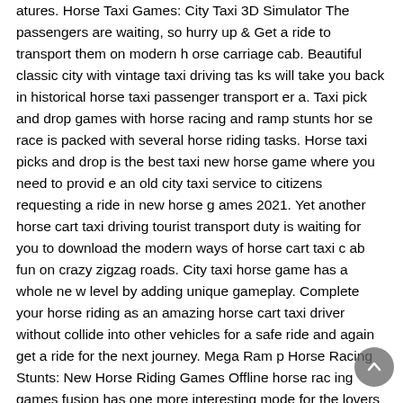atures. Horse Taxi Games: City Taxi 3D Simulator The passengers are waiting, so hurry up & Get a ride to transport them on modern horse carriage cab. Beautiful classic city with vintage taxi driving tasks will take you back in historical horse taxi passenger transport era. Taxi pick and drop games with horse racing and ramp stunts horse race is packed with several horse riding tasks. Horse taxi picks and drop is the best taxi new horse game where you need to provide an old city taxi service to citizens requesting a ride in new horse games 2021. Yet another horse cart taxi driving tourist transport duty is waiting for you to download the modern ways of horse cart taxi cab fun on crazy zigzag roads. City taxi horse game has a whole new level by adding unique gameplay. Complete your horse riding as an amazing horse cart taxi driver without collide into other vehicles for a safe ride and again get a ride for the next journey. Mega Ramp Horse Racing Stunts: New Horse Riding Games Offline horse racing games fusion has one more interesting mode for the lovers of h orse riding and other horse game entertainment.